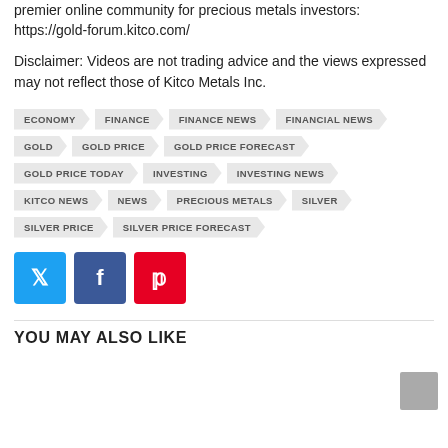premier online community for precious metals investors: https://gold-forum.kitco.com/
Disclaimer: Videos are not trading advice and the views expressed may not reflect those of Kitco Metals Inc.
ECONOMY
FINANCE
FINANCE NEWS
FINANCIAL NEWS
GOLD
GOLD PRICE
GOLD PRICE FORECAST
GOLD PRICE TODAY
INVESTING
INVESTING NEWS
KITCO NEWS
NEWS
PRECIOUS METALS
SILVER
SILVER PRICE
SILVER PRICE FORECAST
YOU MAY ALSO LIKE